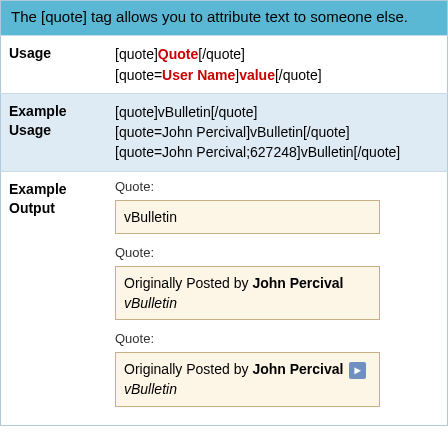The [quote] tag allows you to attribute text to someone else.
|  |  |
| --- | --- |
| Usage | [quote]Quote[/quote]
[quote=User Name]value[/quote] |
| Example Usage | [quote]vBulletin[/quote]
[quote=John Percival]vBulletin[/quote]
[quote=John Percival;627248]vBulletin[/quote] |
| Example Output | Quote:
vBulletin
Quote:
Originally Posted by John Percival
vBulletin
Quote:
Originally Posted by John Percival [arrow]
vBulletin |